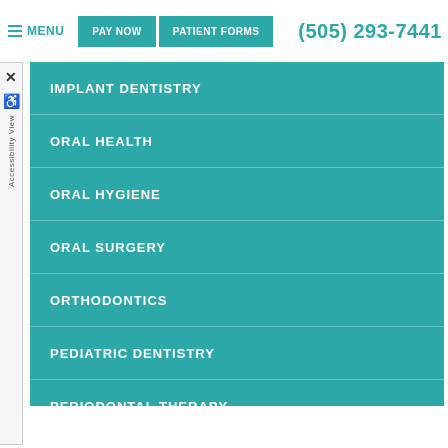MENU | PAY NOW | PATIENT FORMS | (505) 293-7441
IMPLANT DENTISTRY
ORAL HEALTH
ORAL HYGIENE
ORAL SURGERY
ORTHODONTICS
PEDIATRIC DENTISTRY
PERIODONTAL THERAPY
TECHNOLOGY